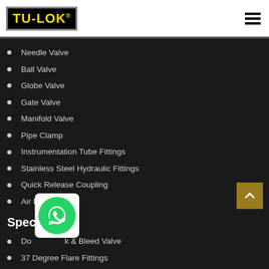TU-LOK® logo and navigation menu
Needle Valve
Ball Valve
Globe Valve
Gate Valve
Manifold Valve
Pipe Clamp
Instrumentation Tube Fittings
Stainless Steel Hydraulic Fittings
Quick Release Coupling
Air Header
Specialize In
Double Block & Bleed Valve
37 Degree Flare Fittings